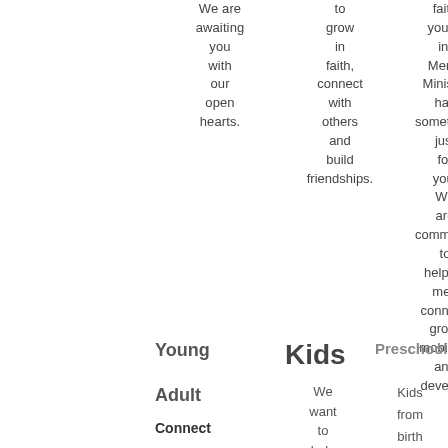We are awaiting you with our open hearts.
to grow in faith, connect with others and build friendships.
faith you're in, Men's Ministry has something just for you. We are committed to helping men connect, grow, mobilize, and develop.
Young Adult Connect
Kids
Preschoolers
We want to help kids
Kids from birth